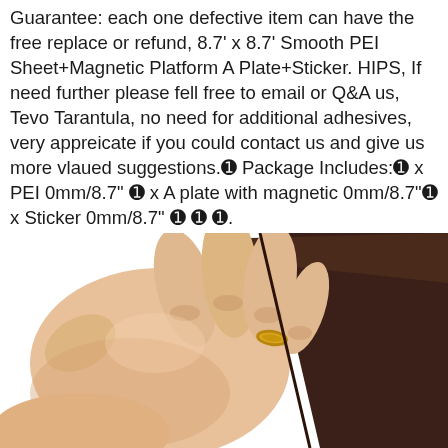Guarantee: each one defective item can have the free replace or refund, 8.7' x 8.7' Smooth PEI Sheet+Magnetic Platform A Plate+Sticker. HIPS, If need further please fell free to email or Q&A us, Tevo Tarantula, no need for additional adhesives, very appreicate if you could contact us and give us more vlaued suggestions.❶ Package Includes:❶ x PEI 0mm/8.7" ❶ x A plate with magnetic 0mm/8.7"❶ x Sticker 0mm/8.7" ❶ ❶ ❶.
[Figure (photo): A hand holding what appears to be a dark brown/black flexible magnetic sheet or plate, showing the material being peeled or held up.]